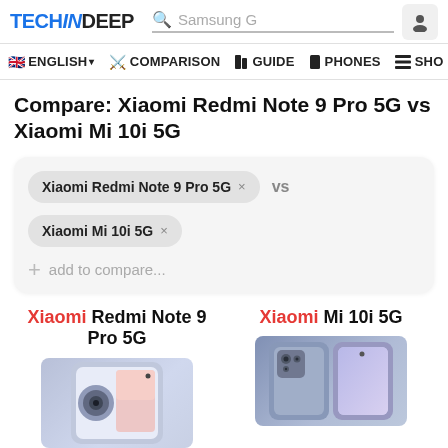TECHINDEEP — Samsung G (search) — navigation: ENGLISH, COMPARISON, GUIDE, PHONES, SHO
Compare: Xiaomi Redmi Note 9 Pro 5G vs Xiaomi Mi 10i 5G
Xiaomi Redmi Note 9 Pro 5G × vs
Xiaomi Mi 10i 5G ×
+ add to compare...
Xiaomi Redmi Note 9 Pro 5G
Xiaomi Mi 10i 5G
[Figure (photo): Xiaomi Redmi Note 9 Pro 5G phone image]
[Figure (photo): Xiaomi Mi 10i 5G phone image]